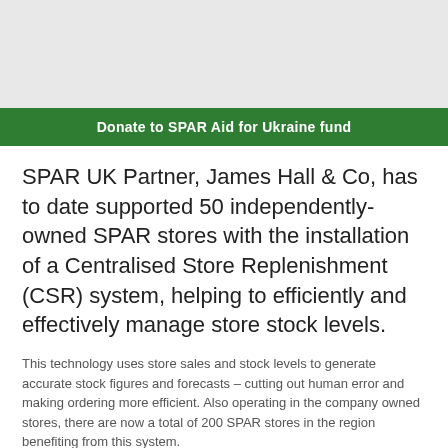[Figure (photo): Top image area showing a partial photo (cropped), appears grey/light in color]
Donate to SPAR Aid for Ukraine fund
SPAR UK Partner, James Hall & Co, has to date supported 50 independently-owned SPAR stores with the installation of a Centralised Store Replenishment (CSR) system, helping to efficiently and effectively manage store stock levels.
This technology uses store sales and stock levels to generate accurate stock figures and forecasts – cutting out human error and making ordering more efficient. Also operating in the company owned stores, there are now a total of 200 SPAR stores in the region benefiting from this system.
The CSR system monitors and manages product quantities to